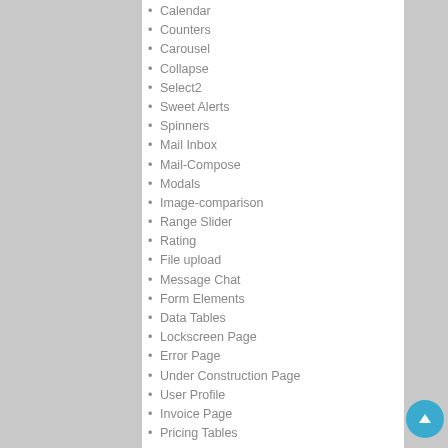Calendar
Counters
Carousel
Collapse
Select2
Sweet Alerts
Spinners
Mail Inbox
Mail-Compose
Modals
Image-comparison
Range Slider
Rating
File upload
Message Chat
Form Elements
Data Tables
Lockscreen Page
Error Page
Under Construction Page
User Profile
Invoice Page
Pricing Tables
progress
Easy to customize
More Widgets
Very Easy to Create your Own Site
Neat, clean and simple design
W3C Validated